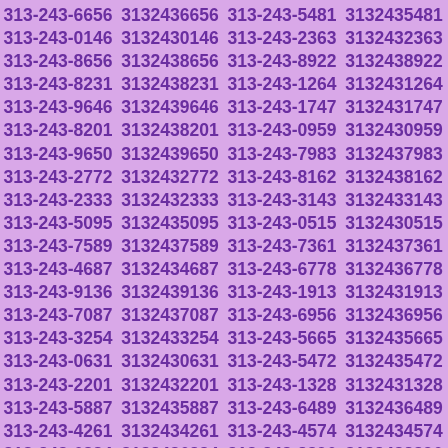| 313-243-6656 | 3132436656 | 313-243-5481 | 3132435481 |
| 313-243-0146 | 3132430146 | 313-243-2363 | 3132432363 |
| 313-243-8656 | 3132438656 | 313-243-8922 | 3132438922 |
| 313-243-8231 | 3132438231 | 313-243-1264 | 3132431264 |
| 313-243-9646 | 3132439646 | 313-243-1747 | 3132431747 |
| 313-243-8201 | 3132438201 | 313-243-0959 | 3132430959 |
| 313-243-9650 | 3132439650 | 313-243-7983 | 3132437983 |
| 313-243-2772 | 3132432772 | 313-243-8162 | 3132438162 |
| 313-243-2333 | 3132432333 | 313-243-3143 | 3132433143 |
| 313-243-5095 | 3132435095 | 313-243-0515 | 3132430515 |
| 313-243-7589 | 3132437589 | 313-243-7361 | 3132437361 |
| 313-243-4687 | 3132434687 | 313-243-6778 | 3132436778 |
| 313-243-9136 | 3132439136 | 313-243-1913 | 3132431913 |
| 313-243-7087 | 3132437087 | 313-243-6956 | 3132436956 |
| 313-243-3254 | 3132433254 | 313-243-5665 | 3132435665 |
| 313-243-0631 | 3132430631 | 313-243-5472 | 3132435472 |
| 313-243-2201 | 3132432201 | 313-243-1328 | 3132431328 |
| 313-243-5887 | 3132435887 | 313-243-6489 | 3132436489 |
| 313-243-4261 | 3132434261 | 313-243-4574 | 3132434574 |
| 313-243-6224 | 3132436224 | 313-243-8396 | 3132438396 |
| 313-243-6383 | 3132436383 | 313-243-5388 | 3132435388 |